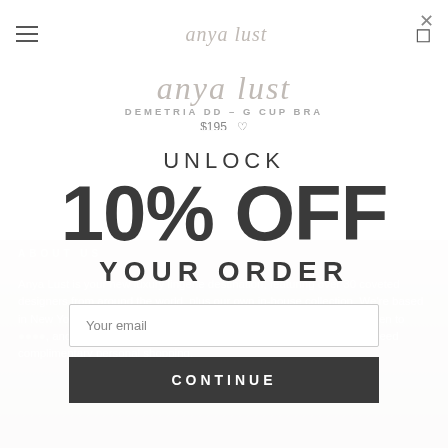anya lust
anya lust
DEMETRIA DD - G CUP BRA
$195
ABOUT US
Anya Lust is your new luxury lingerie destination, featuring over 30 coveted designers from around the world, plus our own in-house collection. We're based in New York City, and ship worldwide. Pour yourself a glass of wine, listen to , and shop from the privacy of your bedroom. Let us know if you need complimentary personal shopping.
UNLOCK 10% OFF YOUR ORDER
Your email
CONTINUE